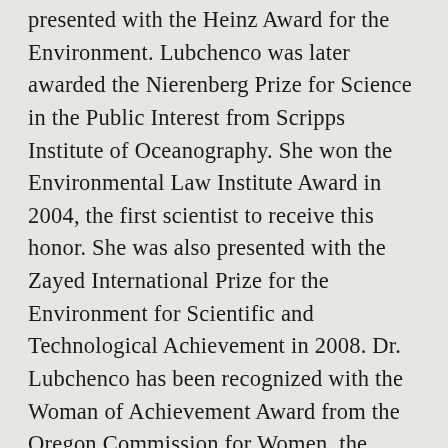presented with the Heinz Award for the Environment. Lubchenco was later awarded the Nierenberg Prize for Science in the Public Interest from Scripps Institute of Oceanography. She won the Environmental Law Institute Award in 2004, the first scientist to receive this honor. She was also presented with the Zayed International Prize for the Environment for Scientific and Technological Achievement in 2008. Dr. Lubchenco has been recognized with the Woman of Achievement Award from the Oregon Commission for Women, the Woman of the Year Award from the Women's Council on Energy and the Environment, and induction into the Women in Science and Technology Hall of Fame. This is a just a small sample of the numerous accolades that have been bestowed upon Dr. Lubchenco to date. She currently holds 19 honorary doctorate degrees from a number of top-tier universities, and she has